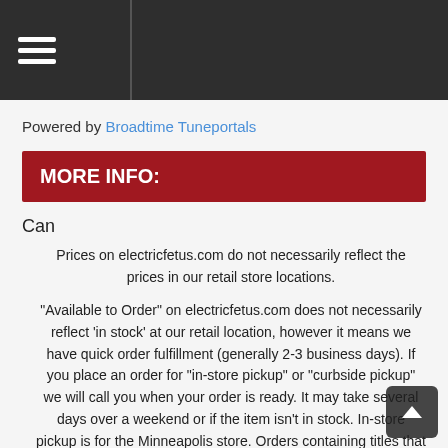Powered by Broadtime Tuneportals
MORE INFO:
Can
Prices on electricfetus.com do not necessarily reflect the prices in our retail store locations.
"Available to Order" on electricfetus.com does not necessarily reflect 'in stock' at our retail location, however it means we have quick order fulfillment (generally 2-3 business days). If you place an order for "in-store pickup" or "curbside pickup" we will call you when your order is ready. It may take several days over a weekend or if the item isn't in stock. In-store pickup is for the Minneapolis store. Orders containing titles that aren't released yet will be shipped together in full when the pre-order is released.
Customs forms for international orders are marked as "merchandise" and we are not responsible for any additional customs fees when packages arrive at their destination country. Some items on our website aren't able to be shipped outside the U.S. Foreign orders for those